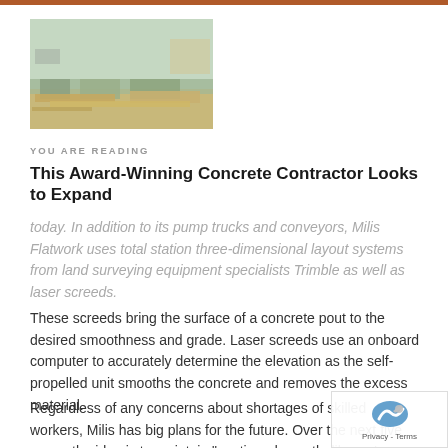[Figure (photo): Aerial or elevated view of a construction/concrete site with large open areas and equipment visible]
YOU ARE READING
This Award-Winning Concrete Contractor Looks to Expand
today. In addition to its pump trucks and conveyors, Milis Flatwork uses total station three-dimensional layout systems from land surveying equipment specialists Trimble as well as laser screeds.
These screeds bring the surface of a concrete pout to the desired smoothness and grade. Laser screeds use an onboard computer to accurately determine the elevation as the self-propelled unit smooths the concrete and removes the excess material.
Regardless of any concerns about shortages of skilled workers, Milis has big plans for the future. Over the next five years, the idea is to maintain "continued growth, like we've been doing. We'd to have multiple locations and maintain our good reputatio states Milis.